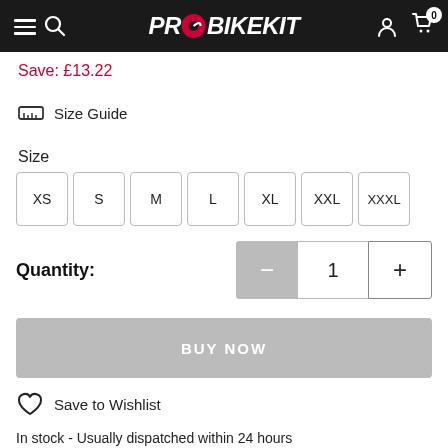PROBIKEKIT
Save: £13.22
Size Guide
Size
XS
S
M
L
XL
XXL
XXXL
Quantity: 1
BUY NOW
Save to Wishlist
In stock - Usually dispatched within 24 hours